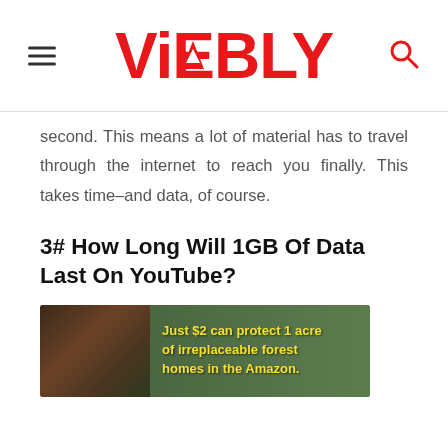ViEBLY
second. This means a lot of material has to travel through the internet to reach you finally. This takes time–and data, of course.
3# How Long Will 1GB Of Data Last On YouTube?
[Figure (photo): Advertisement banner showing a sloth with text: Just $2 can protect 1 acre of irreplaceable forest homes in the Amazon.]